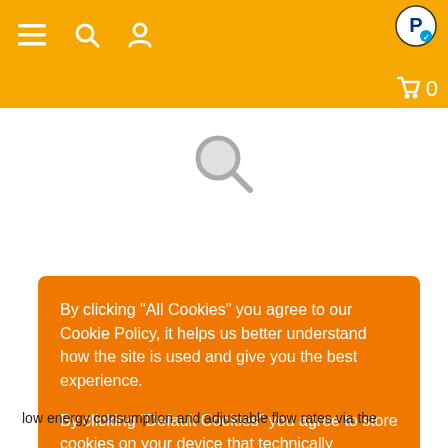[Figure (screenshot): Orange navigation bar with hamburger menu, search icon, user icon on left, PayPal logo top right, shopping cart with 0 bottom right]
[Figure (illustration): Gray magnifying glass search icon]
By clicking "All Cookies" you agree to our Cookie Policy, it helps us better understand how the site is used and give you the best experience.

By clicking "Default Cookies" you agree to store cookies on your device that technically necessary for the operation of a website.
Click to learn more
All Cookies
Default Cookies
low energy consumption and adjustable flow rates via the